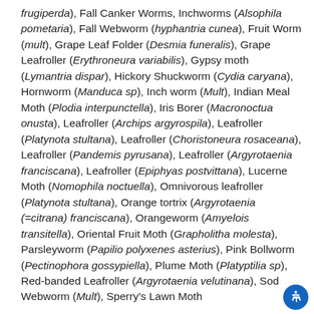frugiperda), Fall Canker Worms, Inchworms (Alsophila pometaria), Fall Webworm (hyphantria cunea), Fruit Worm (mult), Grape Leaf Folder (Desmia funeralis), Grape Leafroller (Erythroneura variabilis), Gypsy moth (Lymantria dispar), Hickory Shuckworm (Cydia caryana), Hornworm (Manduca sp), Inch worm (Mult), Indian Meal Moth (Plodia interpunctella), Iris Borer (Macronoctua onusta), Leafroller (Archips argyrospila), Leafroller (Platynota stultana), Leafroller (Choristoneura rosaceana), Leafroller (Pandemis pyrusana), Leafroller (Argyrotaenia franciscana), Leafroller (Epiphyas postvittana), Lucerne Moth (Nomophila noctuella), Omnivorous leafroller (Platynota stultana), Orange tortrix (Argyrotaenia (=citrana) franciscana), Orangeworm (Amyelois transitella), Oriental Fruit Moth (Grapholitha molesta), Parsleyworm (Papilio polyxenes asterius), Pink Bollworm (Pectinophora gossypiella), Plume Moth (Platyptilia sp), Red-banded Leafroller (Argyrotaenia velutinana), Sod Webworm (Mult), Sperry's Lawn Moth